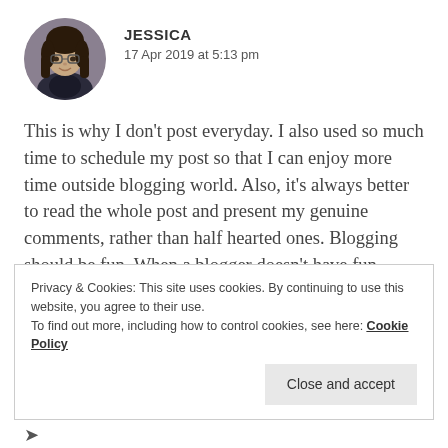[Figure (photo): Circular avatar photo of a young woman with glasses and dark hair, wearing a dark jacket.]
JESSICA
17 Apr 2019 at 5:13 pm
This is why I don't post everyday. I also used so much time to schedule my post so that I can enjoy more time outside blogging world. Also, it's always better to read the whole post and present my genuine comments, rather than half hearted ones. Blogging should be fun. When a blogger doesn't have fun anymore, it's a burden.
Privacy & Cookies: This site uses cookies. By continuing to use this website, you agree to their use.
To find out more, including how to control cookies, see here: Cookie Policy
Close and accept